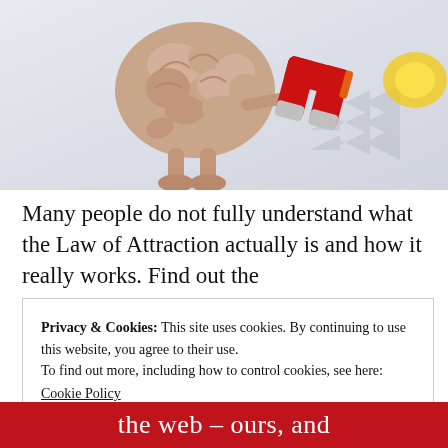[Figure (illustration): 3D illustration of a cartoon brain character with arms and legs holding a red horseshoe magnet, with arrows and a glowing light in the background on a light grey/blue gradient background.]
Many people do not fully understand what the Law of Attraction actually is and how it really works. Find out the
Privacy & Cookies: This site uses cookies. By continuing to use this website, you agree to their use.
To find out more, including how to control cookies, see here:
Cookie Policy
Close and accept
the web – ours, and